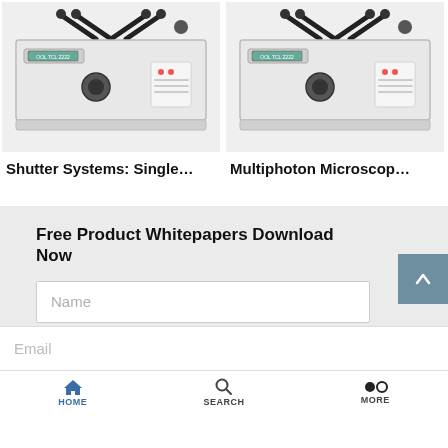[Figure (photo): Photo of a shutter system hardware unit — a rack-mounted white instrument with a scissor-jack mechanism on top and control panel on front.]
[Figure (photo): Photo of a multiphoton microscope hardware unit — identical-looking rack-mounted white instrument with scissor-jack mechanism on top.]
Shutter Systems: Single…
Multiphoton Microscop…
Free Product Whitepapers Download Now
Name
Email
HOME   SEARCH   MORE